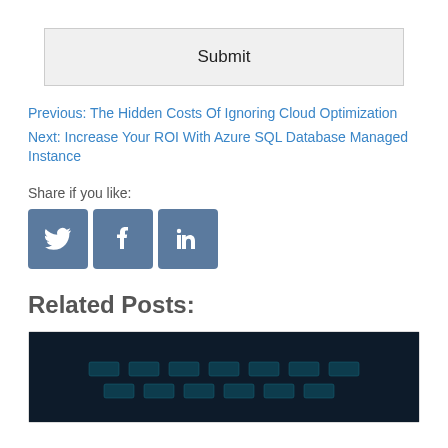Submit
Previous: The Hidden Costs Of Ignoring Cloud Optimization
Next: Increase Your ROI With Azure SQL Database Managed Instance
Share if you like:
[Figure (infographic): Social share buttons: Twitter, Facebook, LinkedIn]
Related Posts:
[Figure (photo): Dark photo of a glowing blue keyboard]